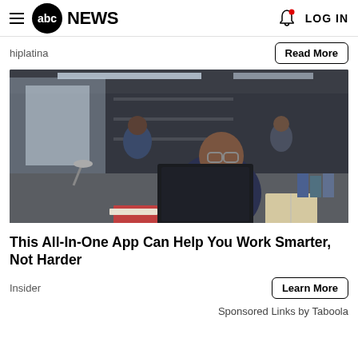abc NEWS  LOG IN
hiplatina
Read More
[Figure (photo): A man with glasses sitting at a desk in an office, looking intently at a laptop screen. Other people are visible in the background. Books and papers are on the desk.]
This All-In-One App Can Help You Work Smarter, Not Harder
Insider
Learn More
Sponsored Links by Taboola